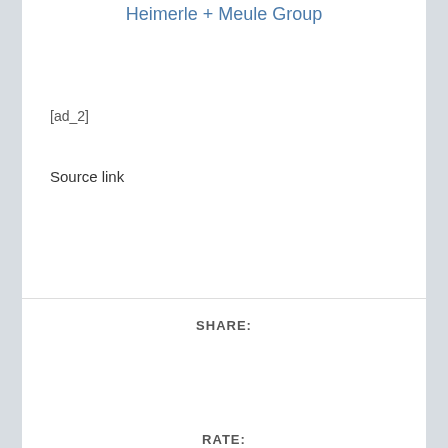Heimerle + Meule Group
[ad_2]
Source link
SHARE:
[Figure (infographic): Social share icons: Facebook, Twitter, Google+, Tumblr, Pinterest, LinkedIn, Buffer, StumbleUpon, Email, Print]
RATE: